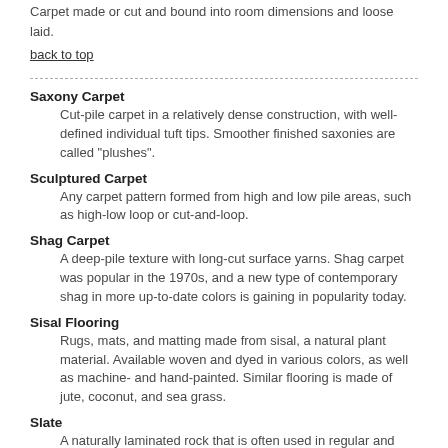Carpet made or cut and bound into room dimensions and loose laid.
back to top
Saxony Carpet
Cut-pile carpet in a relatively dense construction, with well-defined individual tuft tips. Smoother finished saxonies are called "plushes".
Sculptured Carpet
Any carpet pattern formed from high and low pile areas, such as high-low loop or cut-and-loop.
Shag Carpet
A deep-pile texture with long-cut surface yarns. Shag carpet was popular in the 1970s, and a new type of contemporary shag in more up-to-date colors is gaining in popularity today.
Sisal Flooring
Rugs, mats, and matting made from sisal, a natural plant material. Available woven and dyed in various colors, as well as machine- and hand-painted. Similar flooring is made of jute, coconut, and sea grass.
Slate
A naturally laminated rock that is often used in regular and irregular shapes, and is embedded in cement or mortar to create a hard-surface, patterned floor.
Soil Retardant
A chemical finish applied to carpet and fabric surfaces which inhibits...